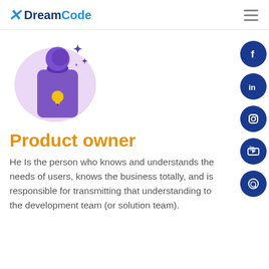DreamCode
[Figure (illustration): Purple illustration of a person with a lightbulb tag/badge, sparkle stars, on a light purple rounded background]
Product owner
He Is the person who knows and understands the needs of users, knows the business totally, and is responsible for transmitting that understanding to the development team (or solution team).
[Figure (other): Social media sidebar icons: Facebook, LinkedIn, Instagram, YouTube, WhatsApp — all in dark blue circles]